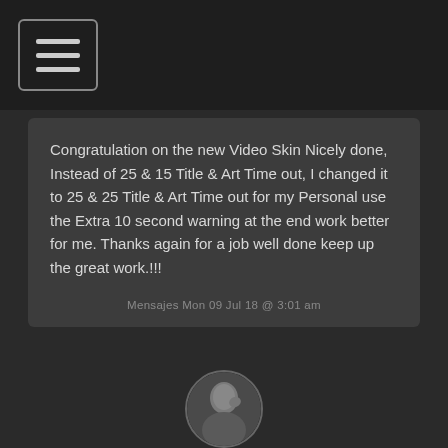[Figure (other): Hamburger menu icon (three horizontal lines) inside a rounded rectangle, in top-left header bar]
Congratulation on the new Video Skin Nicely done, Instead of 25 & 15 Title & Art Time out, I changed it to 25 & 25 Title & Art Time out for my Personal use the Extra 10 second warning at the end work better for me. Thanks again for a job well done keep up the great work.!!!
Mensajes Mon 09 Jul 18 @ 3:01 am
[Figure (photo): Circular avatar photo of a person (BARETTADJ user profile picture)]
BARETTADJ
[Figure (illustration): Italian flag emoji]
★ ★ ★
fdilonez wrote :